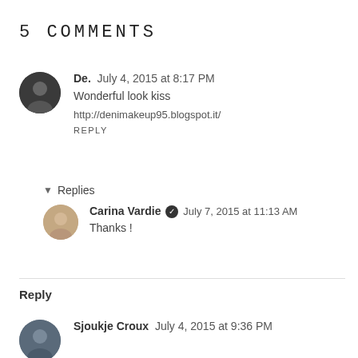5 COMMENTS
De.  July 4, 2015 at 8:17 PM
Wonderful look kiss
http://denimakeup95.blogspot.it/
REPLY
Replies
Carina Vardie  July 7, 2015 at 11:13 AM
Thanks !
Reply
Sjoukje Croux  July 4, 2015 at 9:36 PM